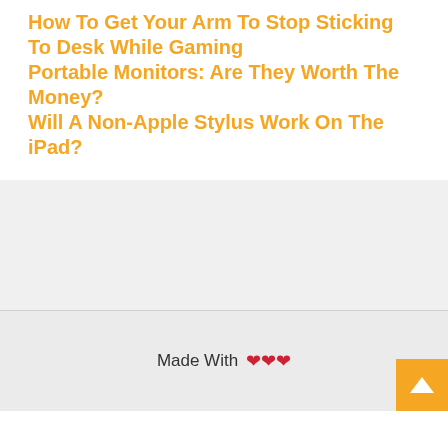How To Get Your Arm To Stop Sticking To Desk While Gaming
Portable Monitors: Are They Worth The Money?
Will A Non-Apple Stylus Work On The iPad?
Made With ❤❤❤